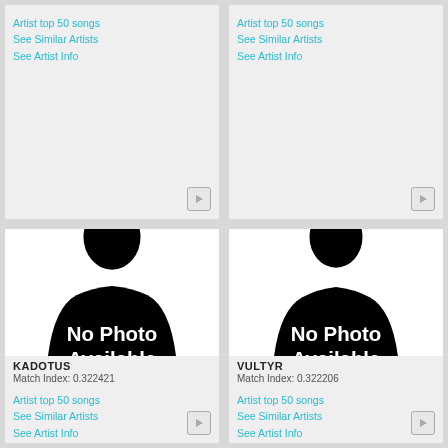Artist top 50 songs
See Similar Artists
See Artist Info
Artist top 50 songs
See Similar Artists
See Artist Info
[Figure (illustration): Silhouette of a person with No Photo Available text - KADOTUS]
KADOTUS
Match Index: 0.322421
Artist top 50 songs
See Similar Artists
See Artist Info
[Figure (illustration): Silhouette of a person with No Photo Available text - VULTYR]
VULTYR
Match Index: 0.322206
Artist top 50 songs
See Similar Artists
See Artist Info